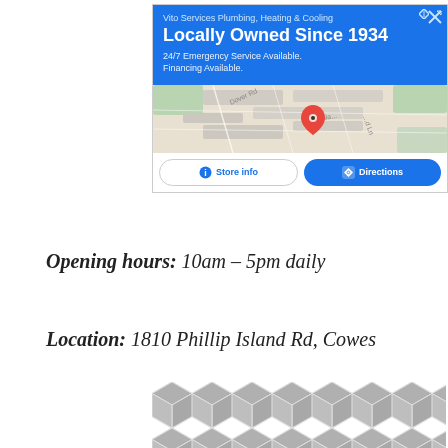[Figure (screenshot): Google Maps ad for Vito Services Plumbing, Heating & Cooling with blue header showing 'Locally Owned Since 1934', 24/7 Emergency Service and Financing Available text, a map thumbnail with a red location pin, and two buttons: Store info and Directions]
Opening hours: 10am – 5pm daily
Location: 1810 Phillip Island Rd, Cowes
[Figure (illustration): Geometric hexagonal/cube pattern in gray and white at bottom of page]